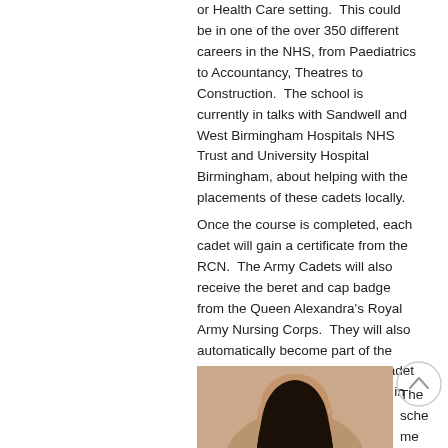or Health Care setting.  This could be in one of the over 350 different careers in the NHS, from Paediatrics to Accountancy, Theatres to Construction.  The school is currently in talks with Sandwell and West Birmingham Hospitals NHS Trust and University Hospital Birmingham, about helping with the placements of these cadets locally.
Once the course is completed, each cadet will gain a certificate from the RCN.  The Army Cadets will also receive the beret and cap badge from the Queen Alexandra's Royal Army Nursing Corps.  They will also automatically become part of the RCN Prince of Wales Nursing Cadet Scheme Alumni, which launches in April 2021.
[Figure (photo): Partial photo of a person (appears to be a young woman with dark hair), cropped at bottom of page]
The scheme